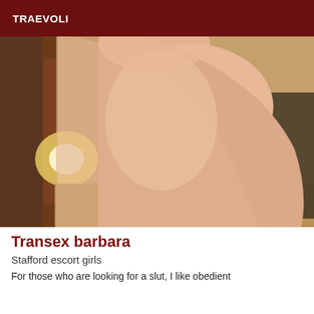TRAEVOLI
[Figure (photo): Close-up photo of a person's bare skin/body, taken indoors with warm golden lighting and a wooden staircase/banister visible in the background.]
Transex barbara
Stafford escort girls
For those who are looking for a slut, I like obedient